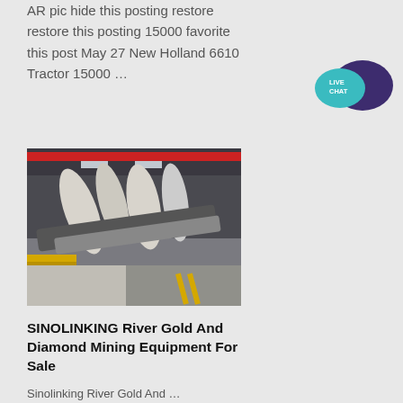AR pic hide this posting restore restore this posting 15000 favorite this post May 27 New Holland 6610 Tractor 15000 …
[Figure (illustration): Live chat speech bubble icon in teal/dark blue]
[Figure (photo): Industrial mining equipment inside a warehouse — conveyor systems, large white pipes and machinery on a factory floor with red crane overhead]
SINOLINKING River Gold And Diamond Mining Equipment For Sale
Sinolinking River Gold And …